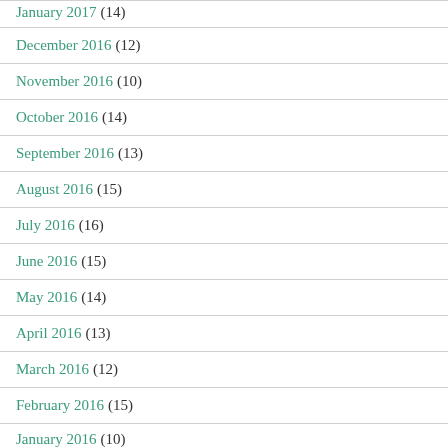January 2017 (14)
December 2016 (12)
November 2016 (10)
October 2016 (14)
September 2016 (13)
August 2016 (15)
July 2016 (16)
June 2016 (15)
May 2016 (14)
April 2016 (13)
March 2016 (12)
February 2016 (15)
January 2016 (10)